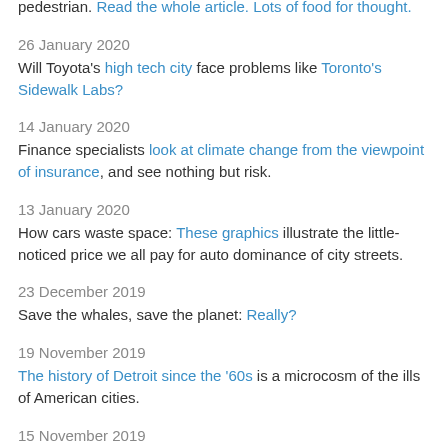pedestrian. Read the whole article. Lots of food for thought.
26 January 2020
Will Toyota's high tech city face problems like Toronto's Sidewalk Labs?
14 January 2020
Finance specialists look at climate change from the viewpoint of insurance, and see nothing but risk.
13 January 2020
How cars waste space: These graphics illustrate the little-noticed price we all pay for auto dominance of city streets.
23 December 2019
Save the whales, save the planet: Really?
19 November 2019
The history of Detroit since the '60s is a microcosm of the ills of American cities.
15 November 2019